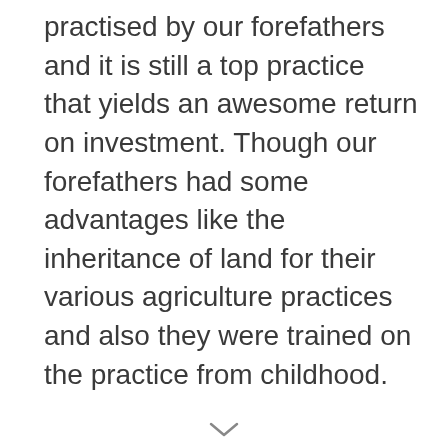practised by our forefathers and it is still a top practice that yields an awesome return on investment. Though our forefathers had some advantages like the inheritance of land for their various agriculture practices and also they were trained on the practice from childhood.